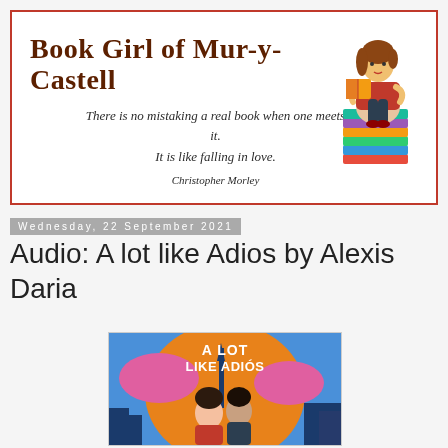[Figure (illustration): Blog header banner for 'Book Girl of Mur-y-Castell' with red border, blog title in brown cursive, an italic quote about books and love attributed to Christopher Morley, and a cartoon illustration of a girl reading while sitting on a stack of colorful books]
Wednesday, 22 September 2021
Audio: A lot like Adios by Alexis Daria
[Figure (illustration): Book cover of 'A Lot Like Adiós' by Alexis Daria featuring two people about to kiss with a colorful cityscape background in blue, orange, and pink tones]